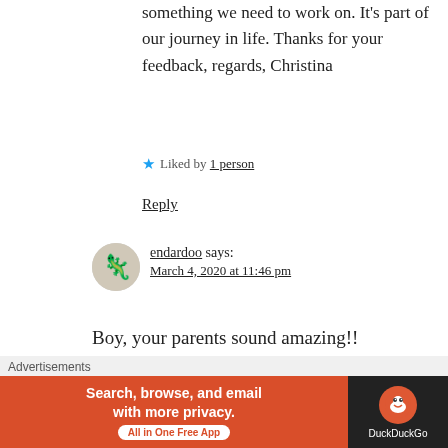something we need to work on. It's part of our journey in life. Thanks for your feedback, regards, Christina
Liked by 1 person
Reply
endardoo says: March 4, 2020 at 11:46 pm
Boy, your parents sound amazing!!
Like
Advertisements
[Figure (other): DuckDuckGo advertisement banner: orange left side with text 'Search, browse, and email with more privacy. All in One Free App' and dark right side with DuckDuckGo logo]